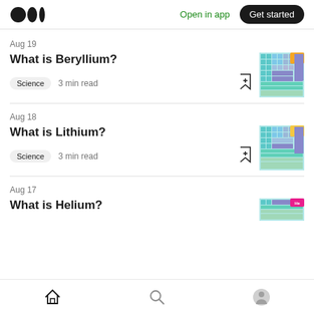Medium — Open in app | Get started
Aug 19
What is Beryllium?
Science  3 min read
[Figure (illustration): Periodic table thumbnail with orange Beryllium element highlighted]
Aug 18
What is Lithium?
Science  3 min read
[Figure (illustration): Periodic table thumbnail with yellow Lithium element highlighted]
Aug 17
What is Helium?
[Figure (illustration): Periodic table thumbnail with pink Helium element highlighted]
Home | Search | Profile